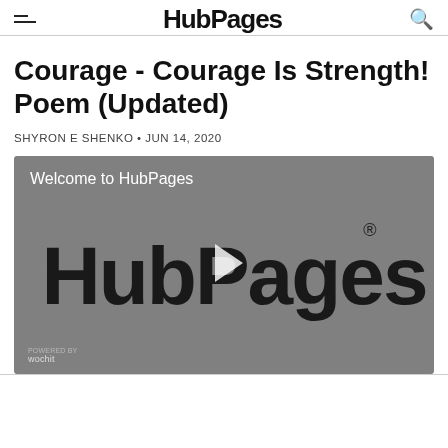HubPages
Courage - Courage Is Strength! Poem (Updated)
SHYRON E SHENKO • JUN 14, 2020
[Figure (screenshot): Video player showing HubPages logo with play button and 'Welcome to HubPages' text. Wochit branding in bottom left.]